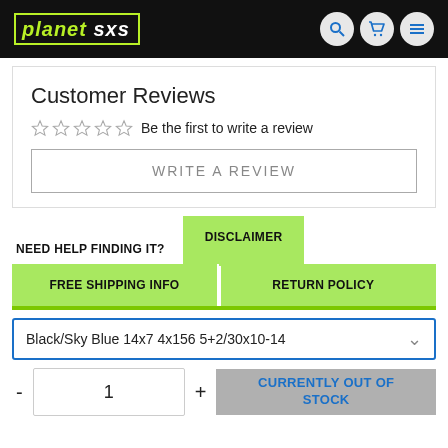planet sxs
Customer Reviews
Be the first to write a review
WRITE A REVIEW
NEED HELP FINDING IT?
DISCLAIMER
FREE SHIPPING INFO
RETURN POLICY
Black/Sky Blue 14x7 4x156 5+2/30x10-14
1
CURRENTLY OUT OF STOCK